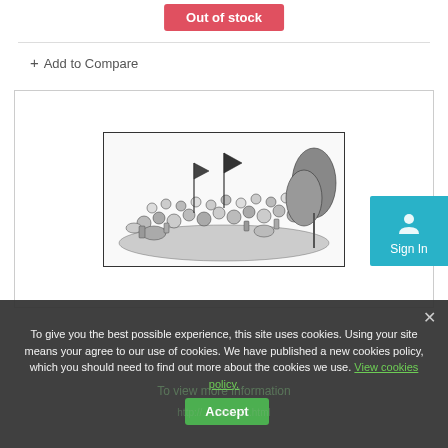Out of stock
+ Add to Compare
[Figure (illustration): Black and white pen illustration of a dense crowd scene with figures, vegetation, and flags]
Sign In
To give you the best possible experience, this site uses cookies. Using your site means your agree to our use of cookies. We have published a new cookies policy, which you should need to find out more about the cookies we use. View cookies policy.
Accept